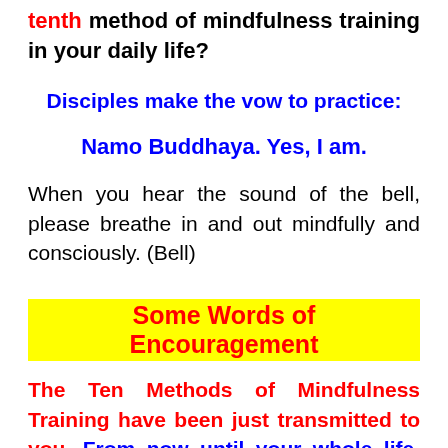tenth method of mindfulness training in your daily life?
Disciples make the vow to practice:
Namo Buddhaya. Yes, I am.
When you hear the sound of the bell, please breathe in and out mindfully and consciously. (Bell)
Some Words of Encouragement
The Ten Methods of Mindfulness Training have been just transmitted to you. From now until your whole life, you are the well-trained disciple